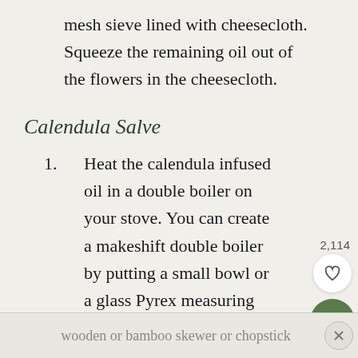mesh sieve lined with cheesecloth. Squeeze the remaining oil out of the flowers in the cheesecloth.
Calendula Salve
Heat the calendula infused oil in a double boiler on your stove. You can create a makeshift double boiler by putting a small bowl or a glass Pyrex measuring cup over a pot with about an inch of simmering water.
Add the beeswax and stir occasionally (a
wooden or bamboo skewer or chopstick